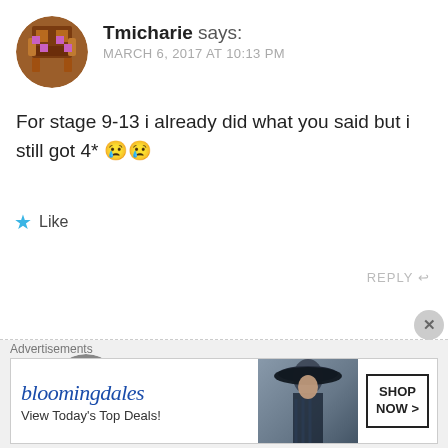[Figure (illustration): Pixel art avatar of a character with purple and brown colors, circular crop]
Tmicharie says:
MARCH 6, 2017 AT 10:13 PM
For stage 9-13 i already did what you said but i still got 4* 😢😢
★ Like
REPLY ↩
[Figure (photo): Circular avatar photo of a dark blue spiky object on grey background]
nakimushi says:
MARCH 7, 2017 AT 4:46 AM
Advertisements
[Figure (screenshot): Bloomingdale's advertisement banner: 'View Today's Top Deals!' with SHOP NOW button and woman in hat image]